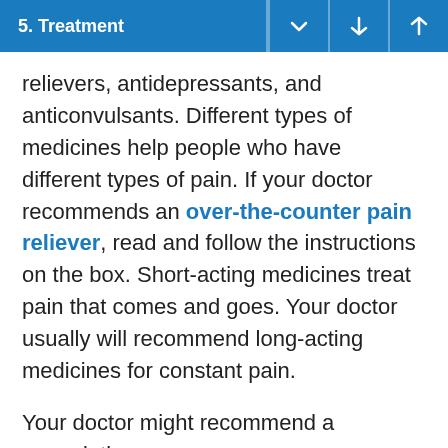5. Treatment
relievers, antidepressants, and anticonvulsants. Different types of medicines help people who have different types of pain. If your doctor recommends an over-the-counter pain reliever, read and follow the instructions on the box. Short-acting medicines treat pain that comes and goes. Your doctor usually will recommend long-acting medicines for constant pain.
Your doctor might recommend a prescription